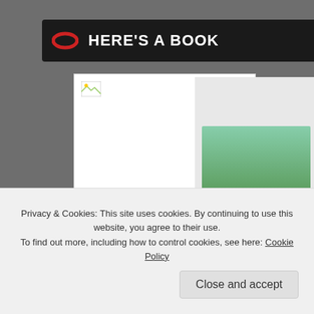HERE'S A BOOK
[Figure (screenshot): Book preview card showing a white cover with a broken image icon, 'By J. V. Brennan' author text, a blue Blurb badge, and an orange 'Book Preview' link]
[Figure (photo): Partial photo on the right side showing trees, a car, and a stop sign in an outdoor setting]
Privacy & Cookies: This site uses cookies. By continuing to use this website, you agree to their use.
To find out more, including how to control cookies, see here: Cookie Policy
Close and accept